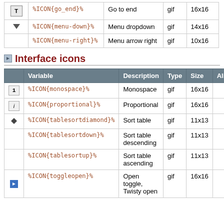|  | Variable | Description | Type | Size | Alias |
| --- | --- | --- | --- | --- | --- |
| [T] | %ICON{go_end}% | Go to end | gif | 16x16 |  |
| ▼ | %ICON{menu-down}% | Menu dropdown | gif | 14x16 |  |
|  | %ICON{menu-right}% | Menu arrow right | gif | 10x16 |  |
Interface icons
|  | Variable | Description | Type | Size | Alias |
| --- | --- | --- | --- | --- | --- |
| [1] | %ICON{monospace}% | Monospace | gif | 16x16 |  |
| [i] | %ICON{proportional}% | Proportional | gif | 16x16 |  |
| ◆ | %ICON{tablesortdiamond}% | Sort table | gif | 11x13 |  |
|  | %ICON{tablesortdown}% | Sort table descending | gif | 11x13 |  |
|  | %ICON{tablesortup}% | Sort table ascending | gif | 11x13 |  |
| ▶ | %ICON{toggleopen}% | Open toggle, Twisty open | gif | 16x16 |  |